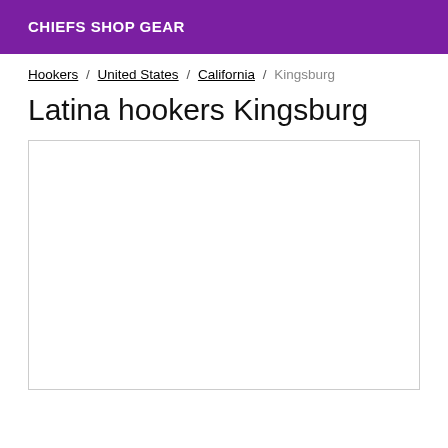CHIEFS SHOP GEAR
Hookers / United States / California / Kingsburg
Latina hookers Kingsburg
[Figure (other): Empty white content box with border]